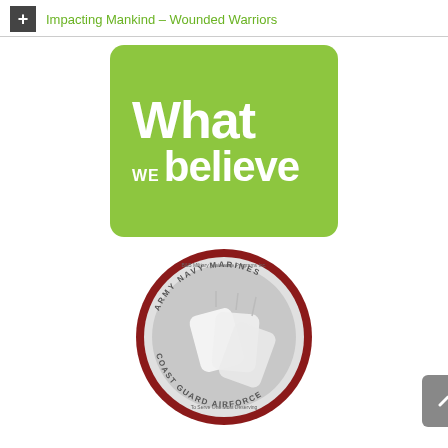Impacting Mankind – Wounded Warriors
[Figure (logo): Green rounded rectangle logo with white bold text reading 'What WE believe']
[Figure (logo): Circular military assistance program emblem showing dog tags, with text around the border reading: ARMY, NAVY, MARINES, AIRFORCE, COAST GUARD, and 'To Serve One Most Deserving']